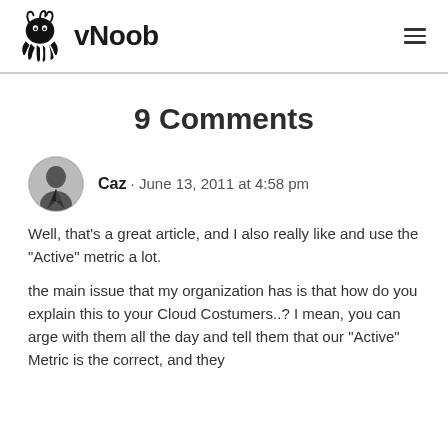vNoob
9 Comments
Caz · June 13, 2011 at 4:58 pm
Well, that's a great article, and I also really like and use the "Active" metric a lot.
the main issue that my organization has is that how do you explain this to your Cloud Costumers..? I mean, you can arge with them all the day and tell them that our "Active" Metric is the correct, and they